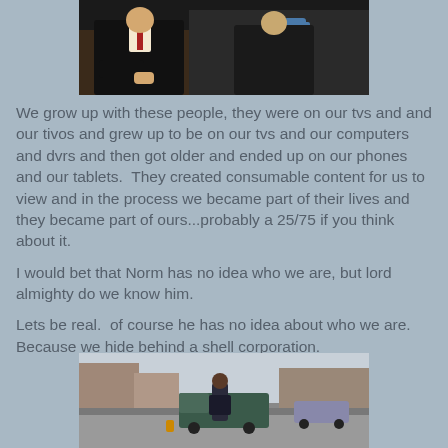[Figure (photo): Two men seated in a talk show setting, one wearing a suit and red tie, with a blue mug visible on a table in the background.]
We grow up with these people, they were on our tvs and and our tivos and grew up to be on our tvs and our computers and dvrs and then got older and ended up on our phones and our tablets.  They created consumable content for us to view and in the process we became part of their lives and they became part of ours...probably a 25/75 if you think about it.
I would bet that Norm has no idea who we are, but lord almighty do we know him.
Lets be real.  of course he has no idea about who we are. Because we hide behind a shell corporation.
[Figure (photo): A man standing on a city street with parked vehicles and buildings in the background.]